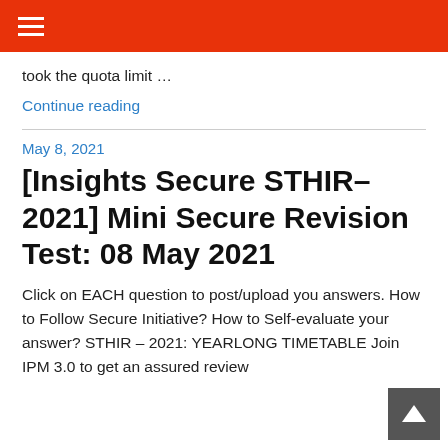☰
took the quota limit …
Continue reading
May 8, 2021
[Insights Secure STHIR– 2021] Mini Secure Revision Test: 08 May 2021
Click on EACH question to post/upload you answers. How to Follow Secure Initiative? How to Self-evaluate your answer?  STHIR – 2021: YEARLONG TIMETABLE Join IPM 3.0 to get an assured review